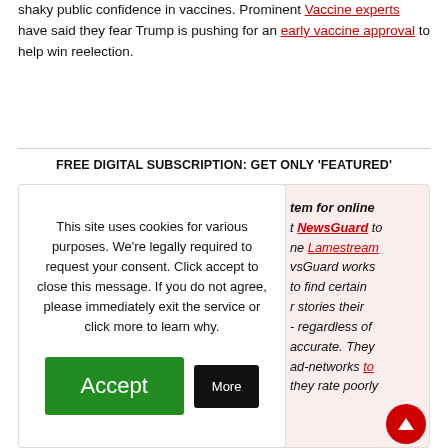shaky public confidence in vaccines. Prominent Vaccine experts have said they fear Trump is pushing for an early vaccine approval to help win reelection.
FREE DIGITAL SUBSCRIPTION: GET ONLY 'FEATURED'
[Figure (screenshot): Cookie consent modal overlay on a news article page. Left panel shows white cookie notice: 'This site uses cookies for various purposes. We're legally required to request your consent. Click accept to close this message. If you do not agree, please immediately exit the service or click more to learn why.' with a green Accept button and black More button. Right panel shows partially visible article text in italics about NewsGuard and Lamestream media.]
cut off revenue or gains to publications they they rate poorly